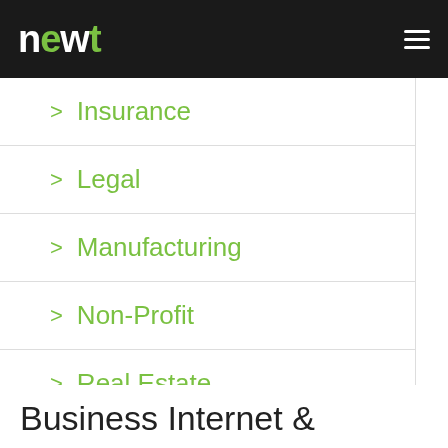newt (logo) with hamburger menu
> Insurance
> Legal
> Manufacturing
> Non-Profit
> Real Estate
> Travel
Business Internet &